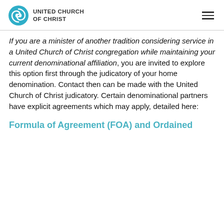UNITED CHURCH OF CHRIST
If you are a minister of another tradition considering service in a United Church of Christ congregation while maintaining your current denominational affiliation, you are invited to explore this option first through the judicatory of your home denomination. Contact then can be made with the United Church of Christ judicatory. Certain denominational partners have explicit agreements which may apply, detailed here:
Formula of Agreement (FOA) and Ordained